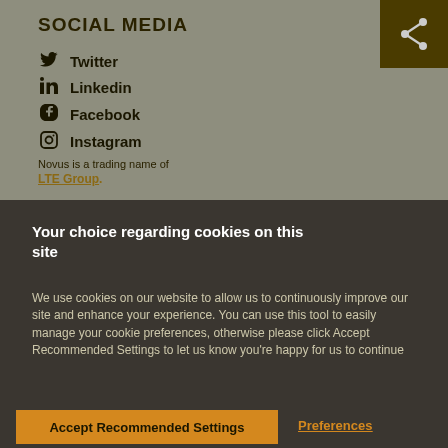SOCIAL MEDIA
Twitter
Linkedin
Facebook
Instagram
Novus is a trading name of LTE Group.
Your choice regarding cookies on this site
We use cookies on our website to allow us to continuously improve our site and enhance your experience. You can use this tool to easily manage your cookie preferences, otherwise please click Accept Recommended Settings to let us know you're happy for us to continue
Accept Recommended Settings
Preferences